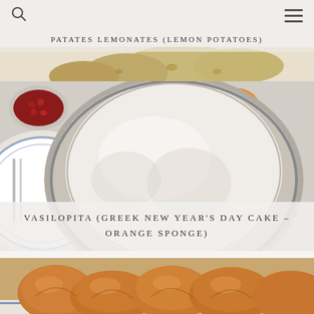Navigation bar with search icon and hamburger menu
[Figure (photo): Close-up photo of lemon potatoes (patates lemonates) — golden roasted potatoes on a white surface]
PATATES LEMONATES (LEMON POTATOES)
[Figure (photo): Overhead photo of a round cake dusted with powdered sugar on a metal tin, surrounded by a blue and white plate with cutlery, a bowl of pomegranate seeds, and an orange on a grey surface]
VASILOPITA (GREEK NEW YEAR'S DAY CAKE – ORANGE SPONGE)
[Figure (photo): Close-up photo of golden-brown bread rolls (tsoureki) on a blue and white decorative plate]